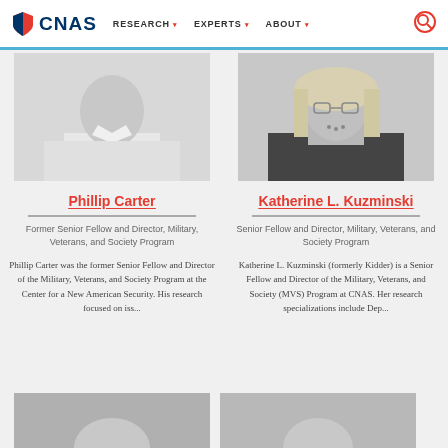CNAS | RESEARCH | EXPERTS | ABOUT
[Figure (photo): Black and white headshot of Phillip Carter, a man in a white dress shirt with a striped tie]
Phillip Carter
Former Senior Fellow and Director, Military, Veterans, and Society Program
Phillip Carter was the former Senior Fellow and Director of the Military, Veterans, and Society Program at the Center for a New American Security. His research focused on iss...
[Figure (photo): Black and white headshot of Katherine L. Kuzminski, a woman with blonde hair wearing a dark sleeveless top]
Katherine L. Kuzminski
Senior Fellow and Director, Military, Veterans, and Society Program
Katherine L. Kuzminski (formerly Kidder) is a Senior Fellow and Director of the Military, Veterans, and Society (MVS) Program at CNAS. Her research specializations include Dep...
[Figure (photo): Partial black and white headshot at bottom left]
[Figure (photo): Partial black and white headshot at bottom right]